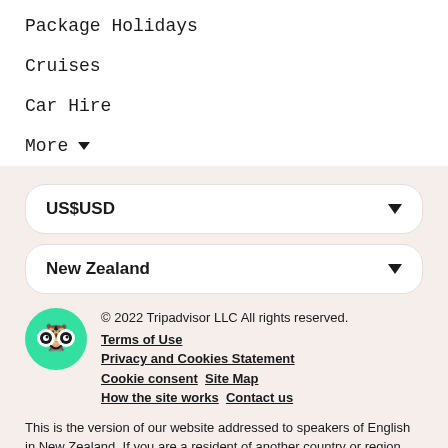Package Holidays
Cruises
Car Hire
More ▾
US$USD
New Zealand
[Figure (logo): TripAdvisor owl logo on green circle]
© 2022 Tripadvisor LLC All rights reserved.
Terms of Use
Privacy and Cookies Statement
Cookie consent  Site Map
How the site works  Contact us
This is the version of our website addressed to speakers of English in New Zealand. If you are a resident of another country or region, please